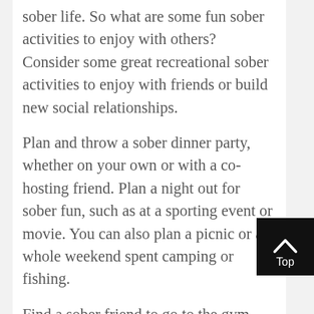sober life. So what are some fun sober activities to enjoy with others? Consider some great recreational sober activities to enjoy with friends or build new social relationships.
Plan and throw a sober dinner party, whether on your own or with a co-hosting friend. Plan a night out for sober fun, such as at a sporting event or movie. You can also plan a picnic or a whole weekend spent camping or fishing.
Find a sober friend to go to the gym with you, play basketball, or enjoy some tennis. You can also hike